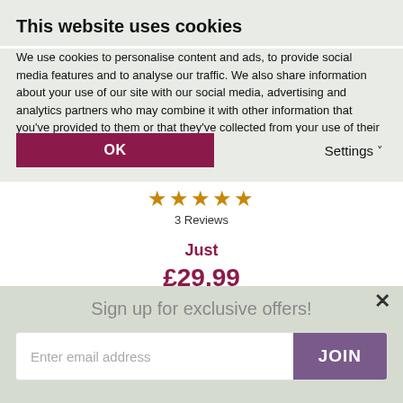This website uses cookies
We use cookies to personalise content and ads, to provide social media features and to analyse our traffic. We also share information about your use of our site with our social media, advertising and analytics partners who may combine it with other information that you've provided to them or that they've collected from your use of their services.
OK
Settings
3 Reviews
Just £29.99
Sign up for exclusive offers!
Enter email address
JOIN